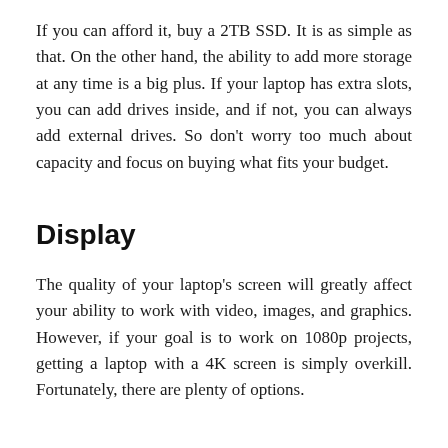If you can afford it, buy a 2TB SSD. It is as simple as that. On the other hand, the ability to add more storage at any time is a big plus. If your laptop has extra slots, you can add drives inside, and if not, you can always add external drives. So don't worry too much about capacity and focus on buying what fits your budget.
Display
The quality of your laptop's screen will greatly affect your ability to work with video, images, and graphics. However, if your goal is to work on 1080p projects, getting a laptop with a 4K screen is simply overkill. Fortunately, there are plenty of options.